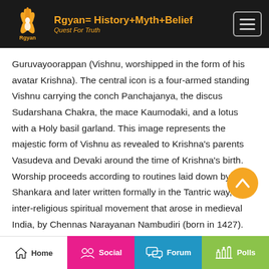Rgyan= History+Myth+Belief Quest For Truth
Guruvayoorappan (Vishnu, worshipped in the form of his avatar Krishna). The central icon is a four-armed standing Vishnu carrying the conch Panchajanya, the discus Sudarshana Chakra, the mace Kaumodaki, and a lotus with a Holy basil garland. This image represents the majestic form of Vishnu as revealed to Krishna's parents Vasudeva and Devaki around the time of Krishna's birth. Worship proceeds according to routines laid down by Adi Shankara and later written formally in the Tantric way, the inter-religious spiritual movement that arose in medieval India, by Chennas Narayanan Nambudiri (born in 1427). The Chennas Nambudiris are the hereditary
Home | Social | Forum | Polls